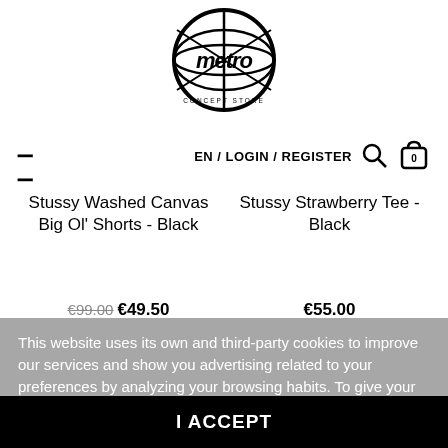[Figure (logo): Metro Concept Store globe logo in black and white]
EN / LOGIN / REGISTER
Stussy Washed Canvas Big Ol' Shorts - Black
Stussy Strawberry Tee - Black
€99.00  €49.50
€55.00
This website uses its own and third-party cookies to improve our services and show you advertising related to your preferences by analyzing your browsing habits. To give your consent to its use, press the Accept button.
More information   Customize Cookies
I ACCEPT